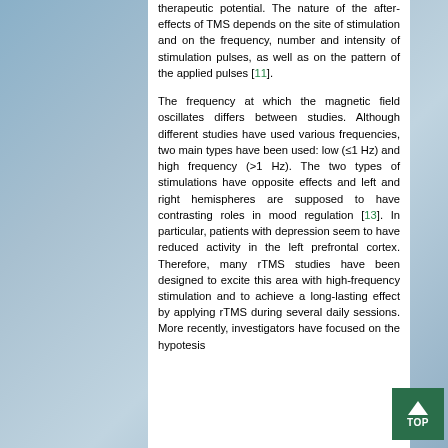therapeutic potential. The nature of the after-effects of TMS depends on the site of stimulation and on the frequency, number and intensity of stimulation pulses, as well as on the pattern of the applied pulses [11].
The frequency at which the magnetic field oscillates differs between studies. Although different studies have used various frequencies, two main types have been used: low (≤1 Hz) and high frequency (>1 Hz). The two types of stimulations have opposite effects and left and right hemispheres are supposed to have contrasting roles in mood regulation [13]. In particular, patients with depression seem to have reduced activity in the left prefrontal cortex. Therefore, many rTMS studies have been designed to excite this area with high-frequency stimulation and to achieve a long-lasting effect by applying rTMS during several daily sessions. More recently, investigators have focused on the hypotesis